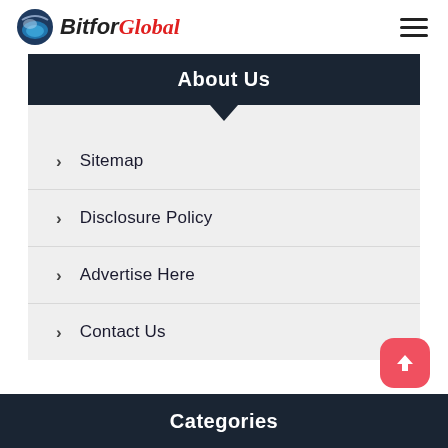Bitfor Global
About Us
Sitemap
Disclosure Policy
Advertise Here
Contact Us
Categories